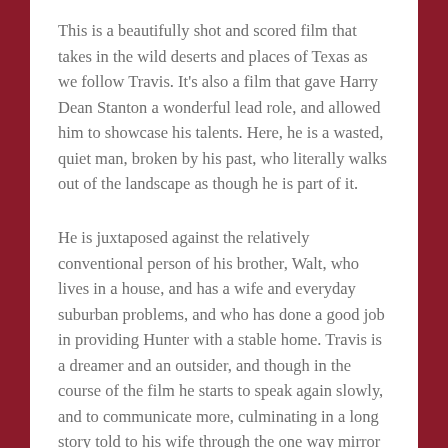This is a beautifully shot and scored film that takes in the wild deserts and places of Texas as we follow Travis. It's also a film that gave Harry Dean Stanton a wonderful lead role, and allowed him to showcase his talents. Here, he is a wasted, quiet man, broken by his past, who literally walks out of the landscape as though he is part of it.
He is juxtaposed against the relatively conventional person of his brother, Walt, who lives in a house, and has a wife and everyday suburban problems, and who has done a good job in providing Hunter with a stable home. Travis is a dreamer and an outsider, and though in the course of the film he starts to speak again slowly, and to communicate more, culminating in a long story told to his wife through the one way mirror at her job, you sense that he thinks in a different way to everyone else and can never truly be happy and belong in conventional life. At least, not after the break up of his marriage and his four years in the wilderness. In that